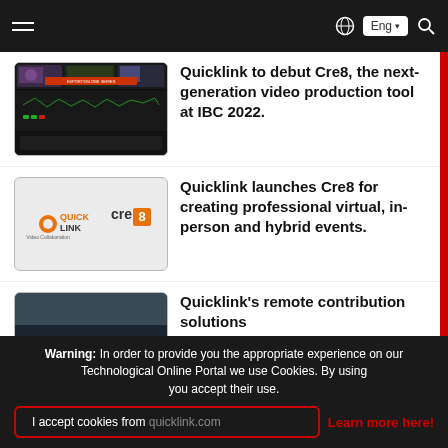Navigation bar with hamburger menu, globe icon, Eng language selector, and search icon
Quicklink to debut Cre8, the next-generation video production tool at IBC 2022.
Quicklink launches Cre8 for creating professional virtual, in-person and hybrid events.
Quicklink's remote contribution solutions
Warning: In order to provide you the appropriate experience on our Technological Online Portal we use Cookies. By using you accept their use.
I accept cookies from quicklink.com
Learn more here!